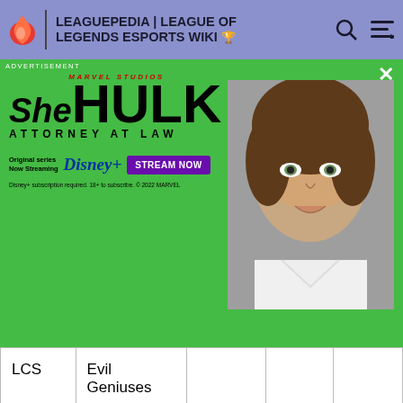LEAGUEPEDIA | LEAGUE OF LEGENDS ESPORTS WIKI
[Figure (screenshot): She-Hulk Attorney at Law advertisement banner on green background with Marvel Studios branding, Disney+ streaming info and Stream Now button]
| League | Team | Player | Role | Name |
| --- | --- | --- | --- | --- |
| LCS | Evil Geniuses |  |  |  |
| LCS | Evil Geniuses | Irean | LCS Coach | Heo |
| LCS | FlyQuest | V1per | Top | Omran |
| LCS | FlyQuest | Santorin | Jungle | Lucas |